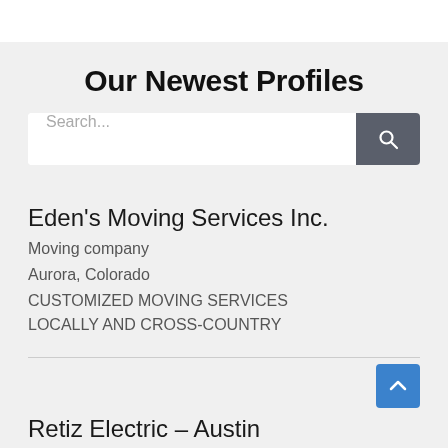Our Newest Profiles
Search...
Eden's Moving Services Inc.
Moving company
Aurora, Colorado
CUSTOMIZED MOVING SERVICES LOCALLY AND CROSS-COUNTRY
Retiz Electric – Austin